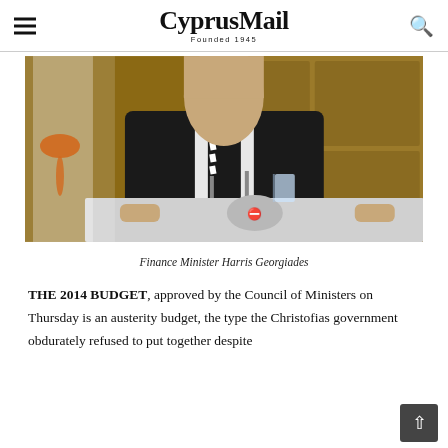CyprusMail — Founded 1945
[Figure (photo): Finance Minister Harris Georgiades standing at a podium with microphones, wearing a black suit and black-and-white striped tie, with the Cyprus flag visible on the left and wooden door panels in the background.]
Finance Minister Harris Georgiades
THE 2014 BUDGET, approved by the Council of Ministers on Thursday is an austerity budget, the type the Christofias government obdurately refused to put together despite the prospect for its of losing €4 bn, due to...